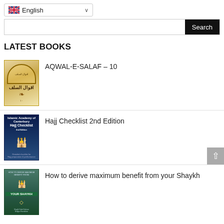[Figure (screenshot): Language selector showing UK flag and 'English' with dropdown chevron]
[Figure (screenshot): Search bar with text input and black 'Search' button]
LATEST BOOKS
[Figure (illustration): Book cover of AQWAL-E-SALAF - 10, yellow/gold colored with Arabic text]
AQWAL-E-SALAF – 10
[Figure (illustration): Book cover of Hajj Checklist 2nd Edition, dark blue with mosque/Kaaba image]
Hajj Checklist 2nd Edition
[Figure (illustration): Book cover of How to derive maximum benefit from your Shaykh, green with mosque image]
How to derive maximum benefit from your Shaykh